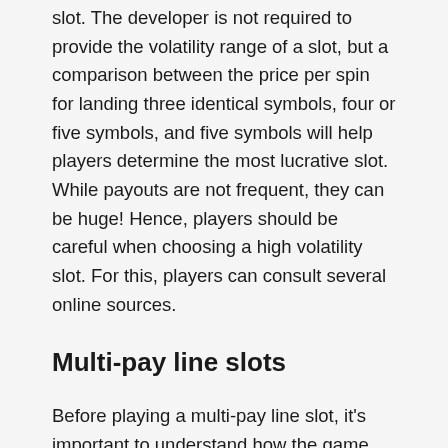slot. The developer is not required to provide the volatility range of a slot, but a comparison between the price per spin for landing three identical symbols, four or five symbols, and five symbols will help players determine the most lucrative slot. While payouts are not frequent, they can be huge! Hence, players should be careful when choosing a high volatility slot. For this, players can consult several online sources.
Multi-pay line slots
Before playing a multi-pay line slot, it's important to understand how the game works. This game is similar to traditional slot machines, with the exception of the number of paylines. Each payline has a specific number of coins that can be wagered. The total number of coins you can bet per round is usually from